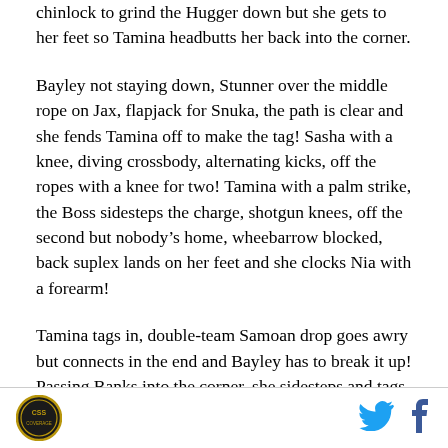chinlock to grind the Hugger down but she gets to her feet so Tamina headbutts her back into the corner.
Bayley not staying down, Stunner over the middle rope on Jax, flapjack for Snuka, the path is clear and she fends Tamina off to make the tag! Sasha with a knee, diving crossbody, alternating kicks, off the ropes with a knee for two! Tamina with a palm strike, the Boss sidesteps the charge, shotgun knees, off the second but nobody's home, wheebarrow blocked, back suplex lands on her feet and she clocks Nia with a forearm!
Tamina tags in, double-team Samoan drop goes awry but connects in the end and Bayley has to break it up! Passing Banks into the corner, she sidesteps and tags
[Figure (logo): Circular logo with CSS text in center, gold and black design]
[Figure (logo): Twitter bird icon in blue]
[Figure (logo): Facebook f icon in dark blue]